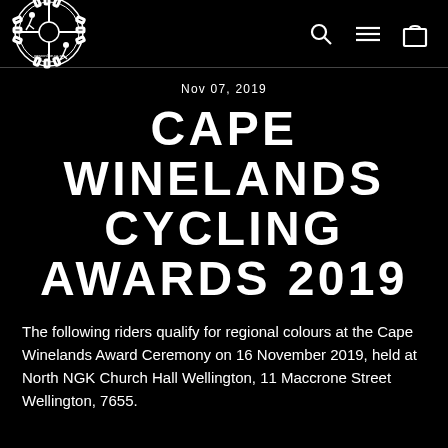[Figure (logo): Gear Online logo: circular gear/sprocket design with cyclists inside and text 'gearonline.co.za']
Nav icons: search, hamburger menu, shopping bag
Nov 07, 2019
CAPE WINELANDS CYCLING AWARDS 2019
The following riders qualify for regional colours at the Cape Winelands Award Ceremony on 16 November 2019, held at North NGK Church Hall Wellington, 11 Maccrone Street Wellington, 7655.